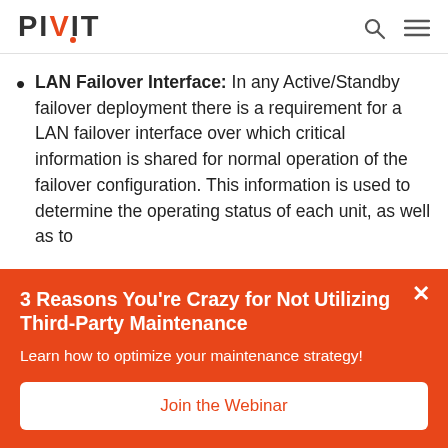PIVIT
LAN Failover Interface: In any Active/Standby failover deployment there is a requirement for a LAN failover interface over which critical information is shared for normal operation of the failover configuration. This information is used to determine the operating status of each unit, as well as to
3 Reasons You're Crazy for Not Utilizing Third-Party Maintenance
Learn how to optimize your maintenance strategy!
Join the Webinar